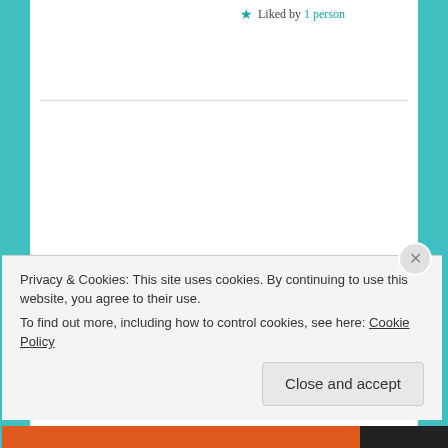★ Liked by 1 person
NATIVEMILLENNIAL   September 22, 2016 at 4:03 am
LOG IN TO REPLY
Just discovered your blog – looks great! I've just started my own little blog for teens to
Privacy & Cookies: This site uses cookies. By continuing to use this website, you agree to their use.
To find out more, including how to control cookies, see here: Cookie Policy
Close and accept